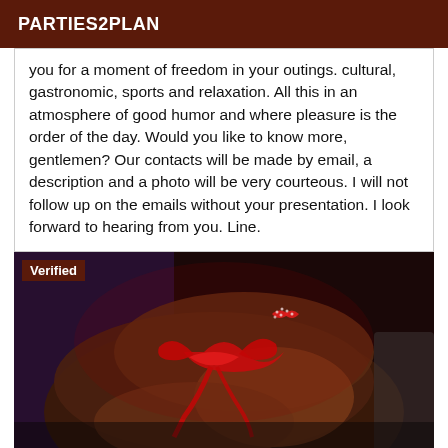PARTIES2PLAN
you for a moment of freedom in your outings. cultural, gastronomic, sports and relaxation. All this in an atmosphere of good humor and where pleasure is the order of the day. Would you like to know more, gentlemen? Our contacts will be made by email, a description and a photo will be very courteous. I will not follow up on the emails without your presentation. I look forward to hearing from you. Line.
[Figure (photo): Verified photo showing a person wearing red lingerie with a red ribbon/bow detail, in dim reddish-purple lighting. A 'Verified' badge appears in the top-left corner.]